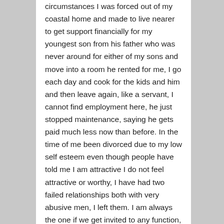circumstances I was forced out of my coastal home and made to live nearer to get support financially for my youngest son from his father who was never around for either of my sons and move into a room he rented for me, I go each day and cook for the kids and him and then leave again, like a servant, I cannot find employment here, he just stopped maintenance, saying he gets paid much less now than before. In the time of me been divorced due to my low self esteem even though people have told me I am attractive I do not feel attractive or worthy, I have had two failed relationships both with very abusive men, I left them. I am always the one if we get invited to any function, who is